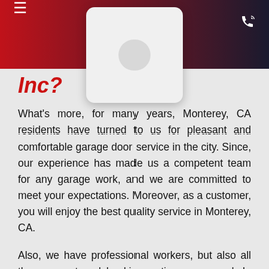Inc?
What's more, for many years, Monterey, CA residents have turned to us for pleasant and comfortable garage door service in the city. Since, our experience has made us a competent team for any garage work, and we are committed to meet your expectations. Moreover, as a customer, you will enjoy the best quality service in Monterey, CA.
Also, we have professional workers, but also all the payment and booking options you need. In fact, you can book your service online or by phone. In the same way, you just have to choose the booking method that best suits your needs and book your workshop service.
However, no matter the time or day, we are always